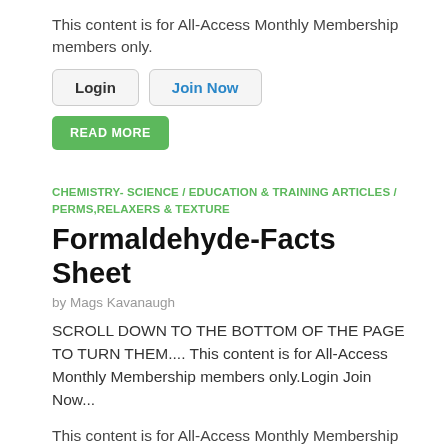This content is for All-Access Monthly Membership members only.
Login   Join Now
READ MORE
CHEMISTRY- SCIENCE / EDUCATION & TRAINING ARTICLES / PERMS,RELAXERS & TEXTURE
Formaldehyde-Facts Sheet
by Mags Kavanaugh
SCROLL DOWN TO THE BOTTOM OF THE PAGE TO TURN THEM.... This content is for All-Access Monthly Membership members only.Login Join Now...
This content is for All-Access Monthly Membership members only.
Login   Join Now